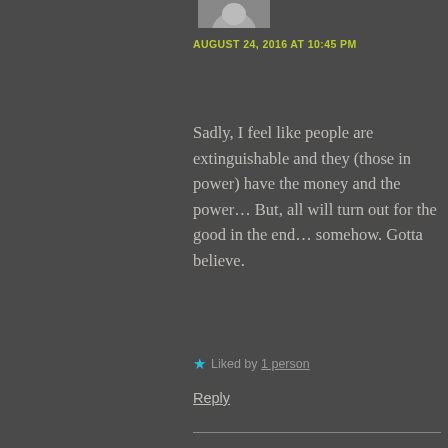[Figure (photo): Partial avatar/profile photo at top, cropped]
AUGUST 24, 2016 AT 10:45 PM
Sadly, I feel like people are extinguishable and they (those in power) have the money and the power… But, all will turn out for the good in the end… somehow. Gotta believe.
★ Liked by 1 person
Reply
[Figure (photo): Profile photo of Christine Valentor, a woman seated outdoors]
Christine Valentor
AUGUST 24, 2016 AT 10:51 PM